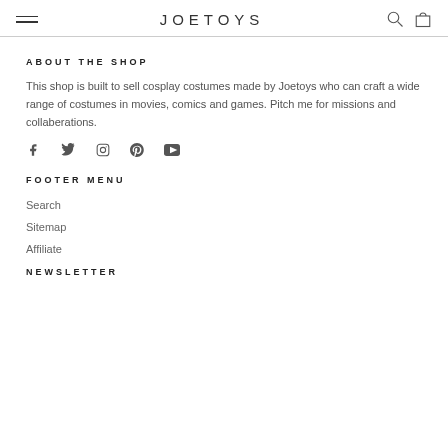JOETOYS
ABOUT THE SHOP
This shop is built to sell cosplay costumes made by Joetoys who can craft a wide range of costumes in movies, comics and games. Pitch me for missions and collaberations.
[Figure (illustration): Social media icons: Facebook, Twitter, Instagram, Pinterest, YouTube]
FOOTER MENU
Search
Sitemap
Affiliate
NEWSLETTER